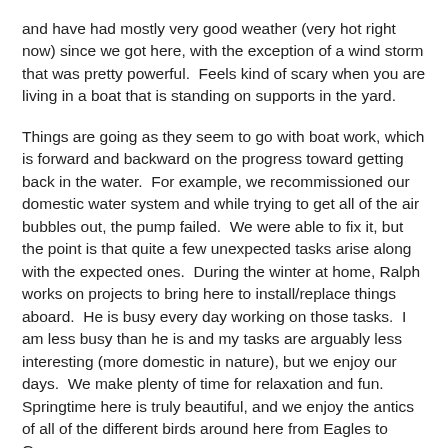and have had mostly very good weather (very hot right now) since we got here, with the exception of a wind storm that was pretty powerful.  Feels kind of scary when you are living in a boat that is standing on supports in the yard.
Things are going as they seem to go with boat work, which is forward and backward on the progress toward getting back in the water.  For example, we recommissioned our domestic water system and while trying to get all of the air bubbles out, the pump failed.  We were able to fix it, but the point is that quite a few unexpected tasks arise along with the expected ones.  During the winter at home, Ralph works on projects to bring here to install/replace things aboard.  He is busy every day working on those tasks.  I am less busy than he is and my tasks are arguably less interesting (more domestic in nature), but we enjoy our days.  We make plenty of time for relaxation and fun.  Springtime here is truly beautiful, and we enjoy the antics of all of the different birds around here from Eagles to Geese.